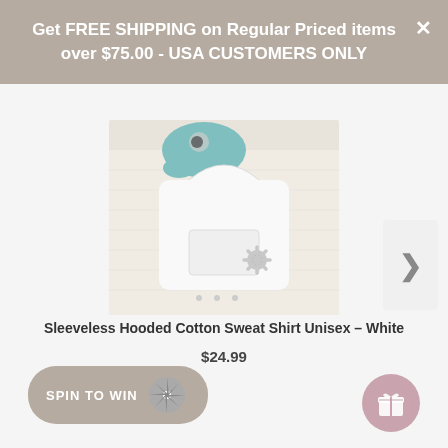Get FREE SHIPPING on Regular Priced items over $75.00 - USA CUSTOMERS ONLY
[Figure (photo): White sleeveless hooded cotton sweat shirt baby onesie with a floral/sunflower button detail, displayed flat with a teal baby hat accessory on a textured white/beige background]
Sleeveless Hooded Cotton Sweat Shirt Unisex – White
$24.99
SPIN TO WIN
[Figure (illustration): Spinning wheel / pinwheel icon in grey]